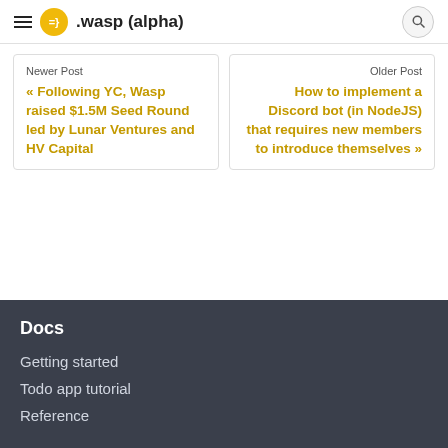=} .wasp (alpha)
Newer Post
« Following YC, Wasp raised $1.5M Seed Round led by Lunar Ventures and HV Capital
Older Post
How to implement a Discord bot (in NodeJS) that requires new members to introduce themselves »
Docs
Getting started
Todo app tutorial
Reference